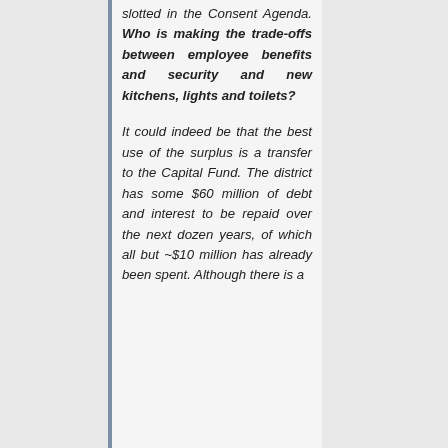slotted in the Consent Agenda. Who is making the trade-offs between employee benefits and security and new kitchens, lights and toilets? It could indeed be that the best use of the surplus is a transfer to the Capital Fund. The district has some $60 million of debt and interest to be repaid over the next dozen years, of which all but ~$10 million has already been spent. Although there is a